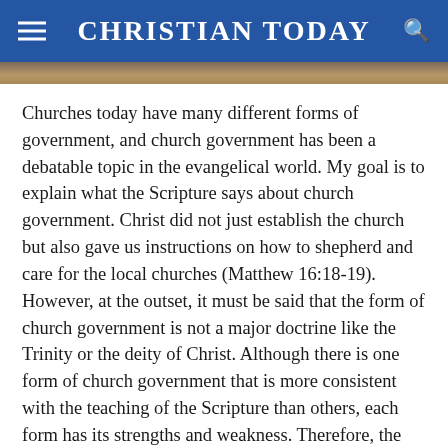CHRISTIAN TODAY
[Figure (photo): Partial view of a church or religious building image strip at top of article]
Churches today have many different forms of government, and church government has been a debatable topic in the evangelical world. My goal is to explain what the Scripture says about church government. Christ did not just establish the church but also gave us instructions on how to shepherd and care for the local churches (Matthew 16:18-19). However, at the outset, it must be said that the form of church government is not a major doctrine like the Trinity or the deity of Christ. Although there is one form of church government that is more consistent with the teaching of the Scripture than others, each form has its strengths and weakness. Therefore, the leadership of each local church must use their wisdom to choose the form of church